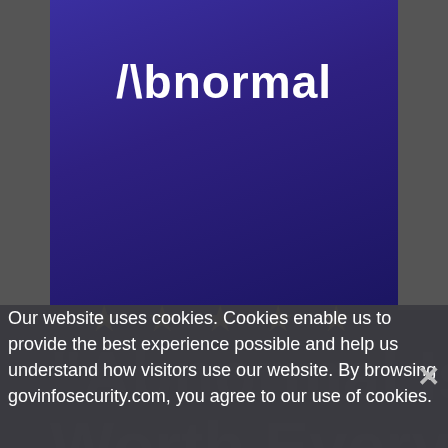[Figure (logo): Abnormal Security logo — white text '/\bnormal' on purple/indigo gradient background banner]
[Figure (infographic): Five gold star rating icons centered below the banner]
[Figure (infographic): Watermark text reading: "Abnormal Is Worth Every Penny" in large semi-transparent white letters overlaid on dark background, with Gartner Peer Insights logo watermark]
Our website uses cookies. Cookies enable us to provide the best experience possible and help us understand how visitors use our website. By browsing govinfosecurity.com, you agree to our use of cookies.